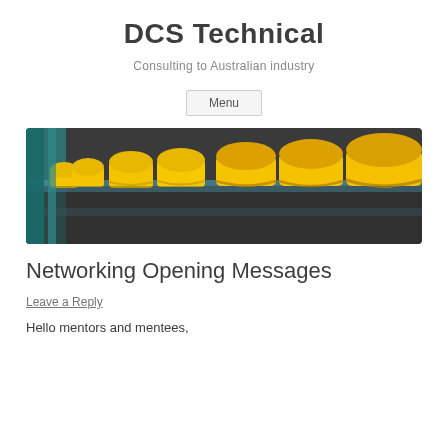DCS Technical
Consulting to Australian industry
Menu
[Figure (photo): Rows of yellow construction hard hats lined up on a blue metal rack, viewed from the side in perspective.]
Networking Opening Messages
Leave a Reply
Hello mentors and mentees,